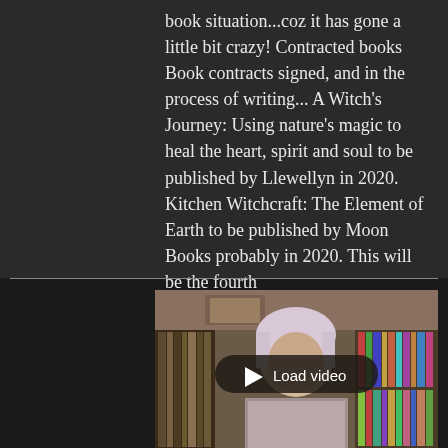book situation...coz it has gone a little bit crazy! Contracted books Book contracts signed, and in the process of writing... A Witch's Journey: Using nature's magic to heal the heart, spirit and soul to be published by Llewellyn in 2020. Kitchen Witchcraft: The Element of Earth to be published by Moon Books probably in 2020. This will be the fourth
[Figure (photo): A woman with pink/white hair sitting in front of bookshelves, with a 'Load video' button overlay in the center of the image.]